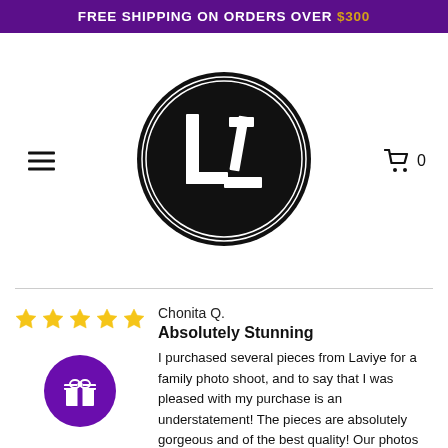FREE SHIPPING ON ORDERS OVER $300
[Figure (logo): Black circular logo with stylized 'LC' monogram letters in white on black background with double ring border]
☰  (hamburger menu icon)
🛒 0
Chonita Q.
Absolutely Stunning
I purchased several pieces from Laviye for a family photo shoot, and to say that I was pleased with my purchase is an understatement! The pieces are absolutely gorgeous and of the best quality! Our photos came out beautifully and the colors of the garments really popped. We